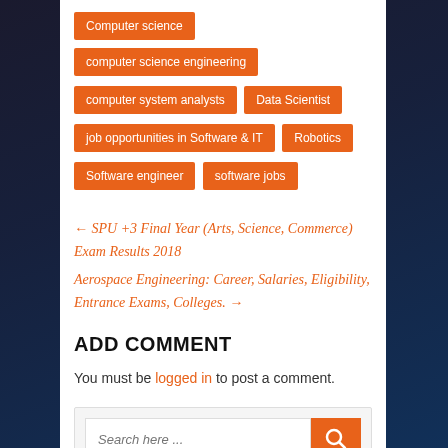Computer science
computer science engineering
computer system analysts
Data Scientist
job opportunities in Software & IT
Robotics
Software engineer
software jobs
← SPU +3 Final Year (Arts, Science, Commerce) Exam Results 2018
Aerospace Engineering: Career, Salaries, Eligibility, Entrance Exams, Colleges. →
ADD COMMENT
You must be logged in to post a comment.
[Figure (other): Search box with text input field placeholder 'Search here...' and orange search button with magnifying glass icon]